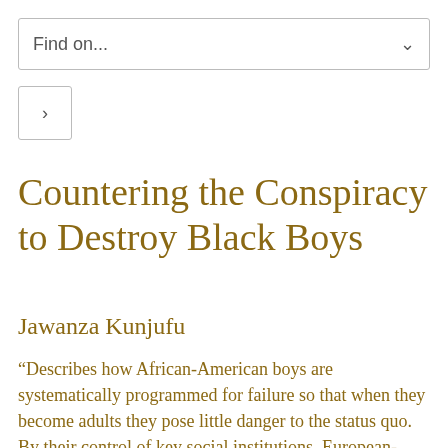Find on...
Countering the Conspiracy to Destroy Black Boys
Jawanza Kunjufu
“Describes how African-American boys are systematically programmed for failure so that when they become adults they pose little danger to the status quo. By their control of key social institutions, European-Americans have denied the African-American boy the fruits of his labor, resources, and birthright from